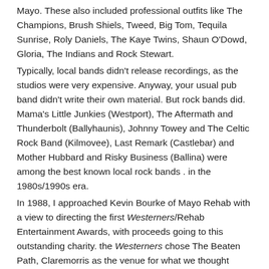Mayo. These also included professional outfits like The Champions, Brush Shiels, Tweed, Big Tom, Tequila Sunrise, Roly Daniels, The Kaye Twins, Shaun O'Dowd, Gloria, The Indians and Rock Stewart.
Typically, local bands didn't release recordings, as the studios were very expensive. Anyway, your usual pub band didn't write their own material. But rock bands did. Mama's Little Junkies (Westport), The Aftermath and Thunderbolt (Ballyhaunis), Johnny Towey and The Celtic Rock Band (Kilmovee), Last Remark (Castlebar) and Mother Hubbard and Risky Business (Ballina) were among the best known local rock bands . in the 1980s/1990s era.
In 1988, I approached Kevin Bourke of Mayo Rehab with a view to directing the first Westerners/Rehab Entertainment Awards, with proceeds going to this outstanding charity. the Westerners chose The Beaten Path, Claremorris as the venue for what we thought would be a major event. And it was!
We invited an audience to vote in eleven categories, including Best Singer and Best Pop/Rock Group.